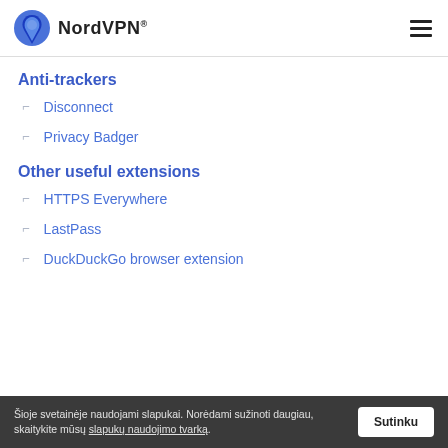NordVPN
Anti-trackers
Disconnect
Privacy Badger
Other useful extensions
HTTPS Everywhere
LastPass
DuckDuckGo browser extension
Šioje svetainėje naudojami slapukai. Norėdami sužinoti daugiau, skaitykite mūsų slapukų naudojimo tvarką. Sutinku